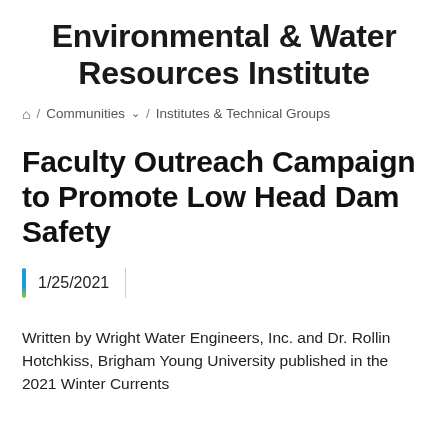Environmental & Water Resources Institute
🏠 / Communities ∨ / Institutes & Technical Groups
Faculty Outreach Campaign to Promote Low Head Dam Safety
1/25/2021
Written by Wright Water Engineers, Inc. and Dr. Rollin Hotchkiss, Brigham Young University published in the 2021 Winter Currents